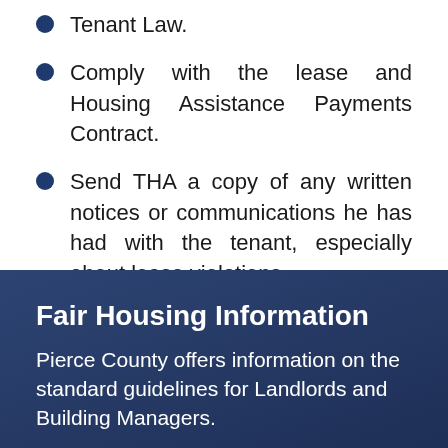Tenant Law.
Comply with the lease and Housing Assistance Payments Contract.
Send THA a copy of any written notices or communications he has had with the tenant, especially about lease violations.
Submit requests to THA for rent increases in writing at least 60 days before the participant's anniversary date and to notify the tenant of the request.
Fair Housing Information
Pierce County offers information on the standard guidelines for Landlords and Building Managers.